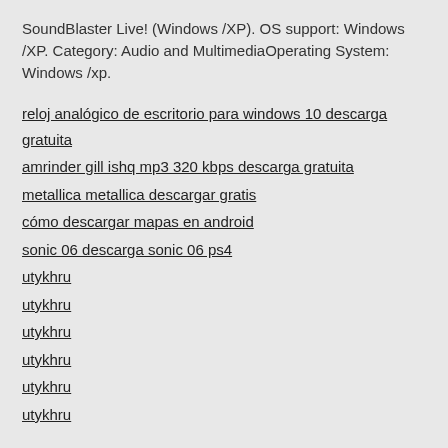SoundBlaster Live! (Windows /XP). OS support: Windows /XP. Category: Audio and MultimediaOperating System: Windows /xp.
reloj analógico de escritorio para windows 10 descarga gratuita
amrinder gill ishq mp3 320 kbps descarga gratuita
metallica metallica descargar gratis
cómo descargar mapas en android
sonic 06 descarga sonic 06 ps4
utykhru
utykhru
utykhru
utykhru
utykhru
utykhru